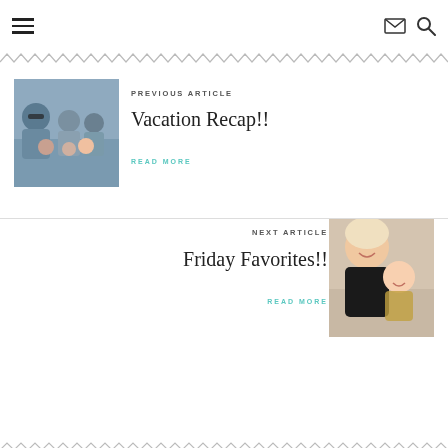Navigation header with hamburger menu, email icon, and search icon
[Figure (illustration): Decorative zigzag/chevron pattern border at top]
[Figure (photo): Family selfie photo showing adults and children outdoors]
PREVIOUS ARTICLE
Vacation Recap!!
READ MORE
[Figure (photo): Woman holding a baby, smiling]
NEXT ARTICLE
Friday Favorites!!
READ MORE
[Figure (illustration): Decorative zigzag/chevron pattern border at bottom]